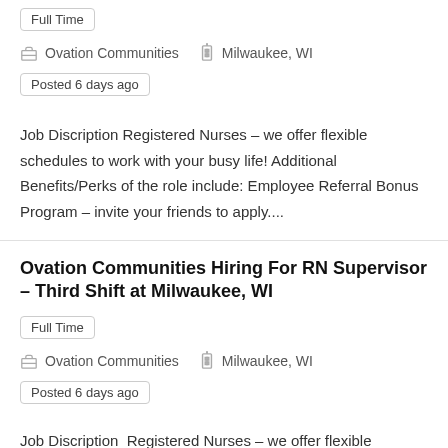Full Time
Ovation Communities   Milwaukee, WI
Posted 6 days ago
Job Discription Registered Nurses – we offer flexible schedules to work with your busy life! Additional Benefits/Perks of the role include: Employee Referral Bonus Program – invite your friends to apply....
Ovation Communities Hiring For RN Supervisor – Third Shift at Milwaukee, WI
Full Time
Ovation Communities   Milwaukee, WI
Posted 6 days ago
Job Discription   Registered Nurses – we offer flexible schedules to work with your busy life! Extra Shift